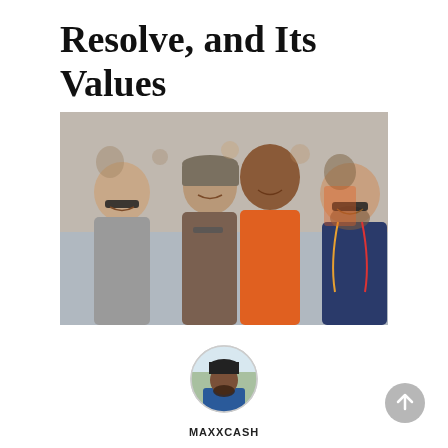Resolve, and Its Values
[Figure (photo): Four men smiling and laughing together outdoors at what appears to be a football event. The man in the center wears an orange sleeveless shirt and is taller than the others. The men on the sides wear sunglasses. Background shows a crowd.]
[Figure (photo): Circular avatar photo of a bearded man wearing a blue jacket, shown from the shoulders up, outdoors with trees in background.]
MAXXCASH